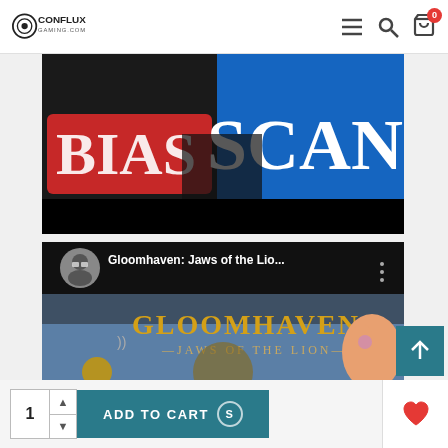Conflux Gaming — navigation header with logo, menu, search, and cart icons
[Figure (screenshot): Cropped image showing text 'BIAS SCAN' on a red and blue background, partially visible]
[Figure (screenshot): YouTube video thumbnail showing 'Gloomhaven: Jaws of the Lio...' with channel avatar and three-dot menu, and the Gloomhaven Jaws of the Lion board game box art below]
[Figure (other): Scroll-to-top button with upward arrow on teal background]
1  ADD TO CART
[Figure (other): Wishlist heart icon button]